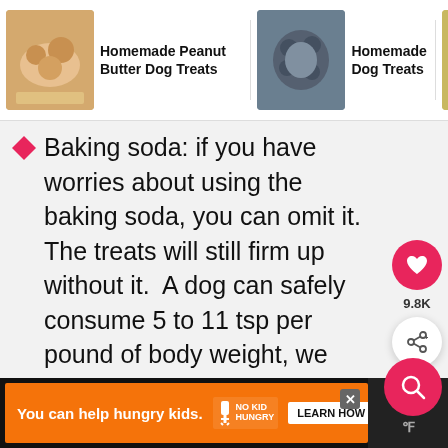[Figure (screenshot): Navigation bar with three recipe links: Homemade Peanut Butter Dog Treats, Homemade Dog Treats, Homemade Dog Food, each with a thumbnail image]
Baking soda: If you have worries about using the baking soda, you can omit it. The treats will still firm up without it. A dog can safely consume 5 to 11 tsp per pound of body weight, we use 1/4 teaspoon for the entire recipe.
[Figure (infographic): Floating action buttons: pink heart button, 9.8K count, share button, and pink search button]
[Figure (screenshot): Ad banner: orange background with 'You can help hungry kids.' No Kid Hungry logo and LEARN HOW button, with X close button and dark right section]